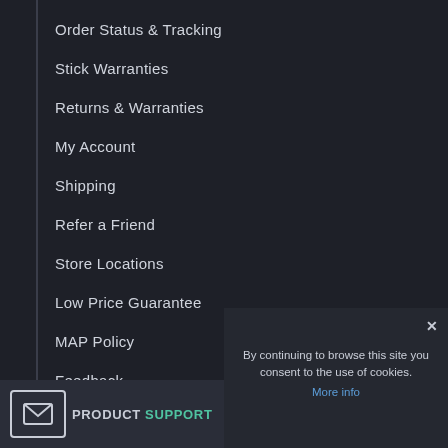Order Status & Tracking
Stick Warranties
Returns & Warranties
My Account
Shipping
Refer a Friend
Store Locations
Low Price Guarantee
MAP Policy
Feedback
By continuing to browse this site you consent to the use of cookies.
More info
PRODUCT SUPPORT